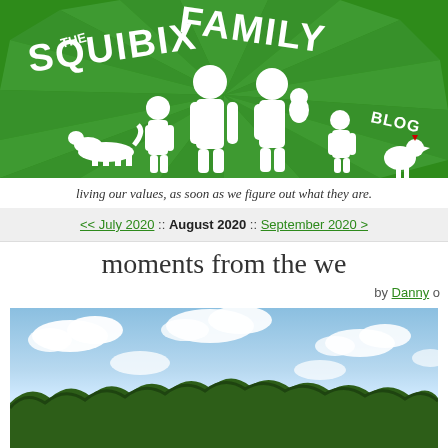[Figure (illustration): The Squibix Family Blog banner: green background with white sunburst rays, white silhouettes of a family (two adults, two children, a dog, and a chicken), with 'THE SQUIBIX FAMILY BLOG' text in white arc lettering]
living our values, as soon as we figure out what they are.
<< July 2020 :: August 2020 :: September 2020 >
moments from the we
by Danny o
[Figure (photo): Outdoor landscape photo showing a blue sky with white clouds above a dense green forest/tree line]